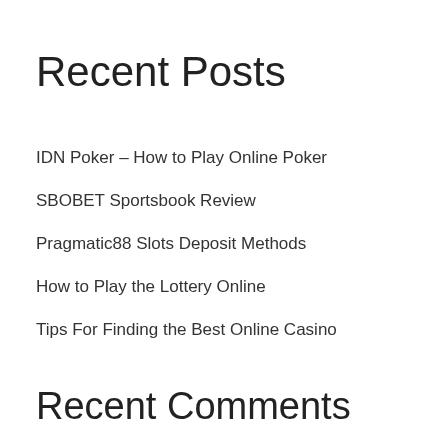Recent Posts
IDN Poker – How to Play Online Poker
SBOBET Sportsbook Review
Pragmatic88 Slots Deposit Methods
How to Play the Lottery Online
Tips For Finding the Best Online Casino
Recent Comments